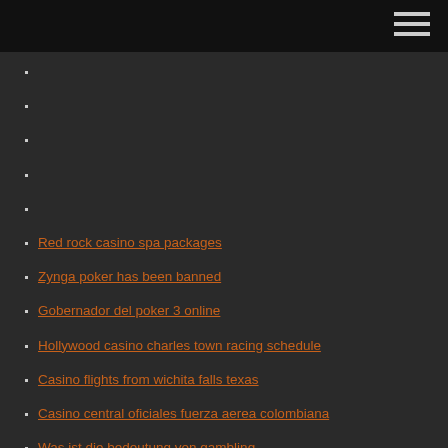Red rock casino spa packages
Zynga poker has been banned
Gobernador del poker 3 online
Hollywood casino charles town racing schedule
Casino flights from wichita falls texas
Casino central oficiales fuerza aerea colombiana
Was ist die bedeutung von gambling
Mallette a roulette esthetique pas cher
Top free slots online no download